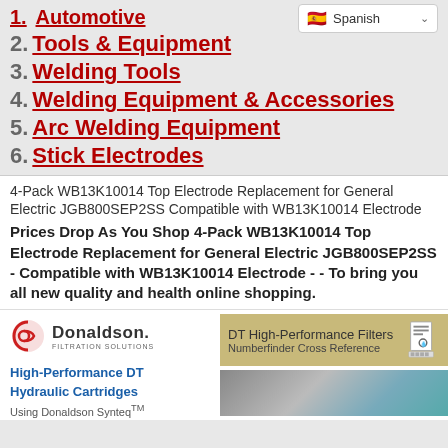1. Automotive
2. Tools & Equipment
3. Welding Tools
4. Welding Equipment & Accessories
5. Arc Welding Equipment
6. Stick Electrodes
4-Pack WB13K10014 Top Electrode Replacement for General Electric JGB800SEP2SS Compatible with WB13K10014 Electrode
Prices Drop As You Shop 4-Pack WB13K10014 Top Electrode Replacement for General Electric JGB800SEP2SS - Compatible with WB13K10014 Electrode - - To bring you all new quality and health online shopping.
[Figure (logo): Donaldson Filtration Solutions logo]
[Figure (infographic): DT High-Performance Filters Numberfinder Cross Reference banner]
High-Performance DT Hydraulic Cartridges
Using Donaldson Synteq™
[Figure (photo): Close-up photo of filter material with blue cap]